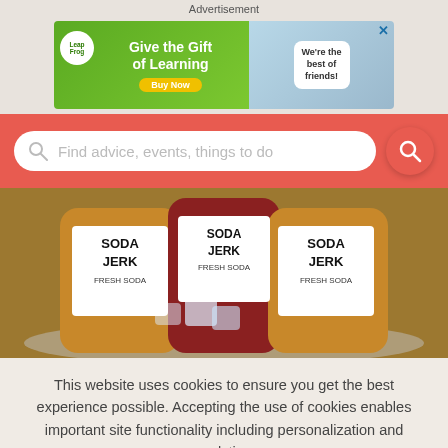Advertisement
[Figure (photo): LeapFrog advertisement banner: green background on left with LeapFrog logo, text 'Give the Gift of Learning' and 'Buy Now' button; right side shows plush toy with speech bubble 'We're the best of friends!']
Find advice, events, things to do
[Figure (photo): Three bottles of Soda Jerk Fresh Soda in a tub of ice. Labels read 'SODA JERK FRESH SODA'. Bottles are orange/amber and red in color.]
This website uses cookies to ensure you get the best experience possible. Accepting the use of cookies enables important site functionality including personalization and analytics.
Accept
Decline